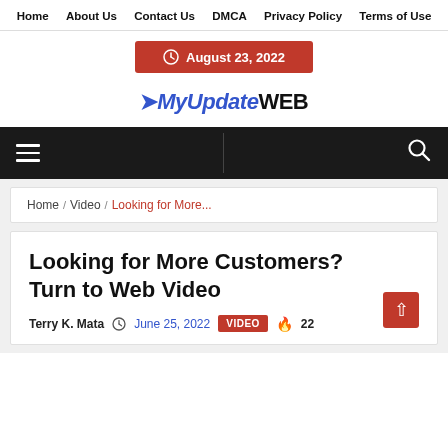Home  About Us  Contact Us  DMCA  Privacy Policy  Terms of Use
August 23, 2022
➤MyUpdateWEB
[Figure (other): Navigation bar with hamburger menu icon and search icon on dark background]
Home / Video / Looking for More...
Looking for More Customers? Turn to Web Video
Terry K. Mata  June 25, 2022  VIDEO  22